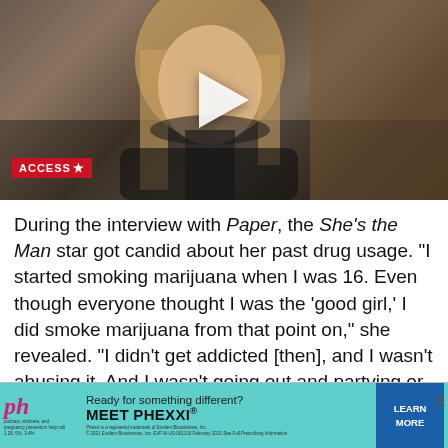[Figure (screenshot): Video thumbnail showing a blonde woman in a black top being interviewed, with a wood-paneled background. A large white play button triangle is centered on the image. An 'ACCESS★' logo badge appears in the bottom-left corner.]
During the interview with Paper, the She's the Man star got candid about her past drug usage. "I started smoking marijuana when I was 16. Even though everyone thought I was the 'good girl,' I did smoke marijuana from that point on," she revealed. "I didn't get addicted [then], and I wasn't abusing it. And I wasn't going out and partying or making a fool of myself … yet."
[Figure (infographic): Advertisement banner for PHEXXI contraceptive. Teal/turquoise background with pink cursive 'ph' logo on left, text 'Ready for something different? MEET PHEXXI.' in center, and a blue 'LEARN MORE' button on the right. Fine print legal text at the bottom.]